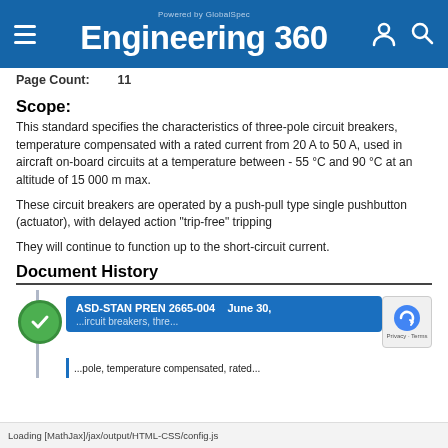Engineering 360 — Powered by GlobalSpec
Page Count:    11
Scope:
This standard specifies the characteristics of three-pole circuit breakers, temperature compensated with a rated current from 20 A to 50 A, used in aircraft on-board circuits at a temperature between - 55 °C and 90 °C at an altitude of 15 000 m max.
These circuit breakers are operated by a push-pull type single pushbutton (actuator), with delayed action "trip-free" tripping
They will continue to function up to the short-circuit current.
Document History
[Figure (infographic): Document history timeline showing ASD-STAN PREN 2665-004 dated June 30, with a green checkmark circle on a vertical timeline line and a blue document card.]
ASD-STAN PREN 2665-004    June 30,
...circuit breakers, three-pole, temperature compensated, rated...
Loading [MathJax]/jax/output/HTML-CSS/config.js